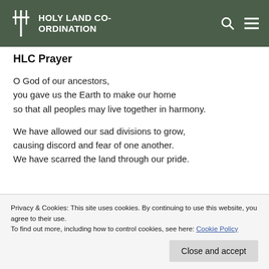HOLY LAND CO-ORDINATION
HLC Prayer
O God of our ancestors,
you gave us the Earth to make our home
so that all peoples may live together in harmony.
We have allowed our sad divisions to grow,
causing discord and fear of one another.
We have scarred the land through our pride.
Privacy & Cookies: This site uses cookies. By continuing to use this website, you agree to their use.
To find out more, including how to control cookies, see here: Cookie Policy
you walk alongside us in our daily lives.